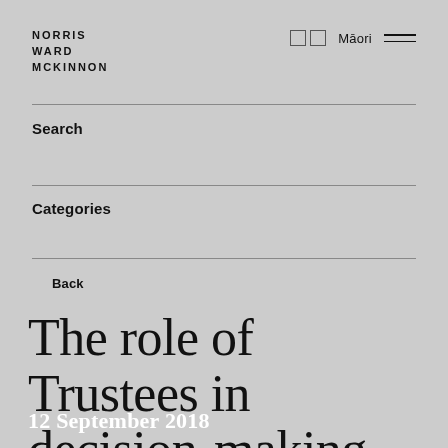NORRIS WARD MCKINNON
□ □   Māori
Search
Categories
Back
The role of Trustees in decision-making
12 September 2018